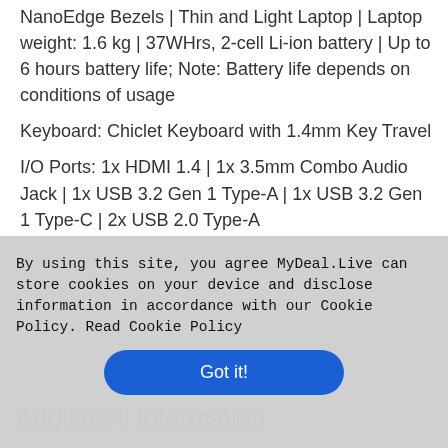NanoEdge Bezels | Thin and Light Laptop | Laptop weight: 1.6 kg | 37WHrs, 2-cell Li-ion battery | Up to 6 hours battery life; Note: Battery life depends on conditions of usage
Keyboard: Chiclet Keyboard with 1.4mm Key Travel
I/O Ports: 1x HDMI 1.4 | 1x 3.5mm Combo Audio Jack | 1x USB 3.2 Gen 1 Type-A | 1x USB 3.2 Gen 1 Type-C | 2x USB 2.0 Type-A
Other: Wi-Fi 5 (802.11ac) (Dual band) 1*1 | VGA web camera without privacy shutter | Built-in speaker | Built-in microphone
By using this site, you agree MyDeal.Live can store cookies on your device and disclose information in accordance with our Cookie Policy. Read Cookie Policy
Got it!
Additio...